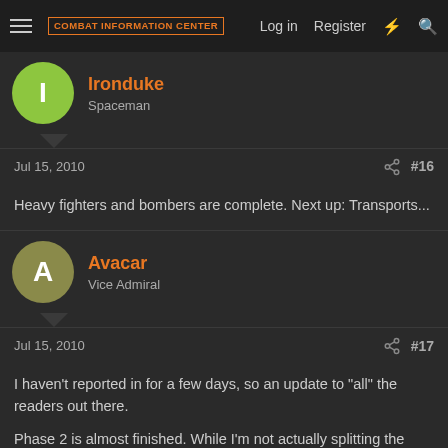Combat Information Center — Log in  Register
Ironduke
Spaceman
Jul 15, 2010  #16
Heavy fighters and bombers are complete. Next up: Transports...
Avacar
Vice Admiral
Jul 15, 2010  #17
I haven't reported in for a few days, so an update to "all" the readers out there.

Phase 2 is almost finished. While I'm not actually splitting the phase 2 up, I did just hit a nice debug point which shows off